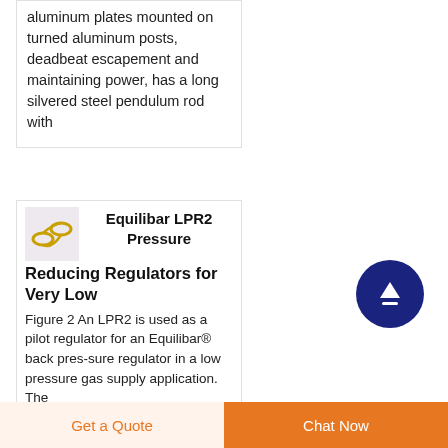aluminum plates mounted on turned aluminum posts, deadbeat escapement and maintaining power, has a long silvered steel pendulum rod with
Equilibar LPR2 Pressure Reducing Regulators for Very Low
Figure 2 An LPR2 is used as a pilot regulator for an Equilibar® back pres-sure regulator in a low pressure gas supply application. The
[Figure (logo): Small product icon showing chains/links in gold/yellow color on light background]
[Figure (other): Dark navy circular button with white upward arrow]
Get a Quote  |  Chat Now